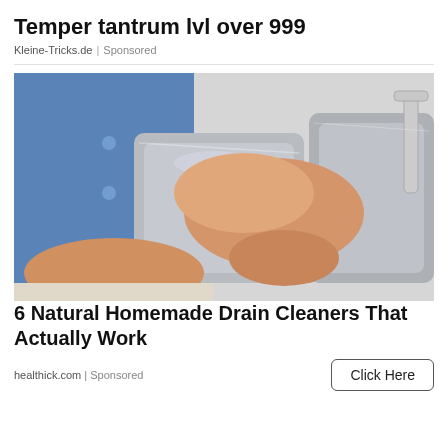Temper tantrum lvl over 999
Kleine-Tricks.de | Sponsored
[Figure (photo): Person in a blue shirt working on a stainless steel kitchen sink, hands gripping something at the drain area]
6 Natural Homemade Drain Cleaners That Actually Work
healthick.com | Sponsored
Click Here